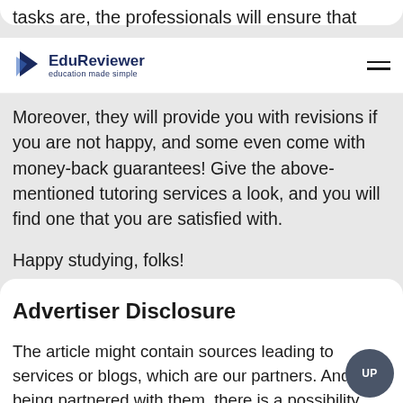tasks are, the professionals will ensure that
EduReviewer — education made simple
Moreover, they will provide you with revisions if you are not happy, and some even come with money-back guarantees! Give the above-mentioned tutoring services a look, and you will find one that you are satisfied with.
Happy studying, folks!
Advertiser Disclosure
The article might contain sources leading to services or blogs, which are our partners. And being partnered with them, there is a possibility that we may earn commissions if you happen to buy one of their products or services. You can learn about